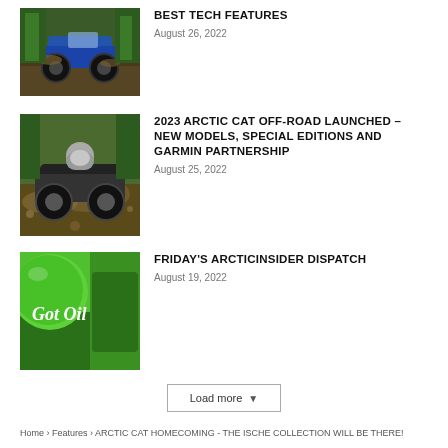[Figure (photo): ATV blue vehicle driving through mud in forest]
BEST TECH FEATURES
August 26, 2022
[Figure (photo): ATV rider in mud with helmet, off-road racing]
2023 ARCTIC CAT OFF-ROAD LAUNCHED – NEW MODELS, SPECIAL EDITIONS AND GARMIN PARTNERSHIP
August 25, 2022
[Figure (photo): Green vehicle panel with cursive text 'Got Oil']
FRIDAY'S ARCTICINSIDER DISPATCH
August 19, 2022
Load more
Home › Features › ARCTIC CAT HOMECOMING - THE ISCHE COLLECTION WILL BE THERE!